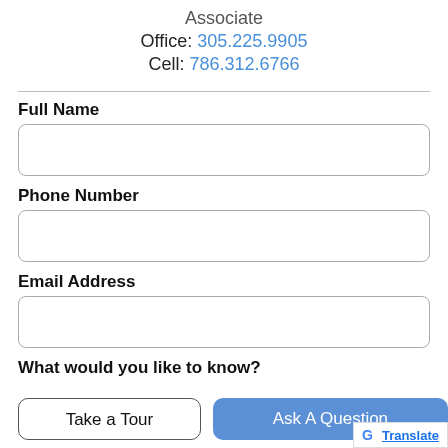Associate
Office: 305.225.9905
Cell: 786.312.6766
Full Name
Phone Number
Email Address
What would you like to know?
Take a Tour
Ask A Question
Translate